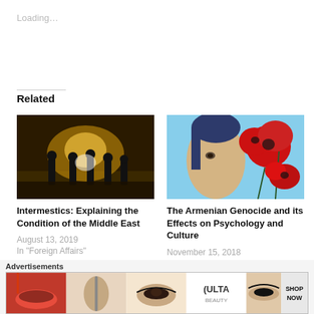Loading…
Related
[Figure (photo): Night scene with soldiers or riot police silhouetted against a bright light in an urban alley, warm yellow/orange tones]
Intermestics: Explaining the Condition of the Middle East
August 13, 2019
In "Foreign Affairs"
[Figure (illustration): Painting of a person's face combined with large red poppy flowers on a blue background]
The Armenian Genocide and its Effects on Psychology and Culture
November 15, 2018
In "Foreign Affairs"
[Figure (photo): Partial grey image at bottom, partially visible]
Advertisements
[Figure (photo): ULTA Beauty advertisement banner showing makeup, brushes, eyes, and SHOP NOW text]